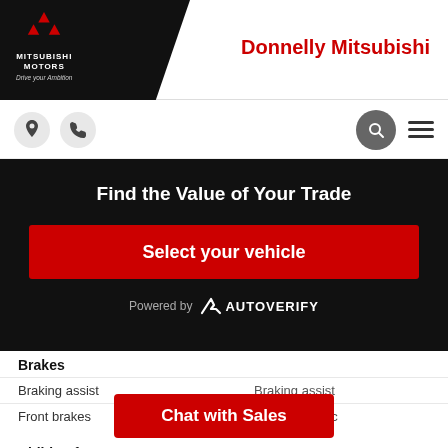[Figure (logo): Mitsubishi Motors logo with diamond emblem, white text on black background, 'Drive your Ambition' tagline]
Donnelly Mitsubishi
[Figure (screenshot): Navigation bar with location pin icon, phone icon, search icon, and hamburger menu]
Find the Value of Your Trade
Select your vehicle
Powered by AUTOVERIFY
Brakes
| Feature | Value |
| --- | --- |
| Braking assist | Braking assist |
| Front brakes | Ventilated disc |
Child Safety
| Feature | Value |
| --- | --- |
| Child safety lock | Manual |
Chat with Sales